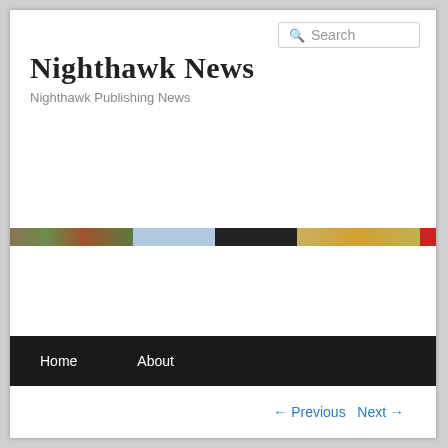Search
Nighthawk News
Nighthawk Publishing News
[Figure (photo): Horizontal banner strip composed of multiple colored segments: camouflage/nature imagery, light blue, black, tan/gold, and red]
Home   About
← Previous   Next →
Books – and prints – for